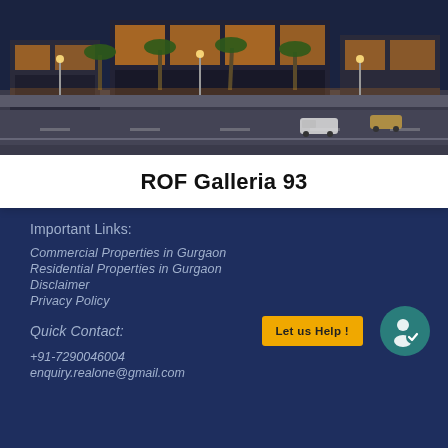[Figure (photo): Aerial/bird's eye view of ROF Galleria 93 commercial property at night with illuminated shops, palm trees, road with cars, and a shopping complex]
ROF Galleria 93
Important Links:
Commercial Properties in Gurgaon
Residential Properties in Gurgaon
Disclaimer
Privacy Policy
Quick Contact:
+91-7290046004
enquiry.realone@gmail.com